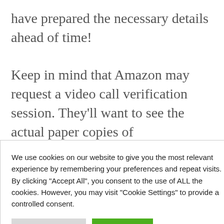have prepared the necessary details ahead of time!

Keep in mind that Amazon may request a video call verification session. They'll want to see the actual paper copies of
We use cookies on our website to give you the most relevant experience by remembering your preferences and repeat visits. By clicking "Accept All", you consent to the use of ALL the cookies. However, you may visit "Cookie Settings" to provide a controlled consent.
ments for
lli... Amazon for diff...